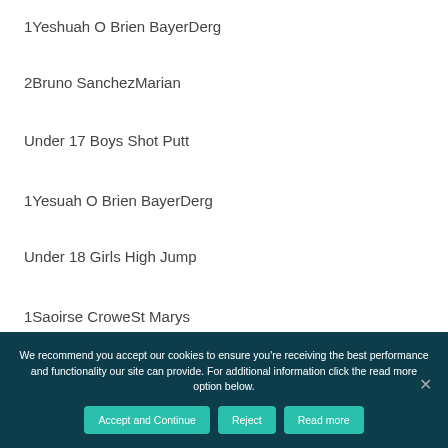1Yeshuah O Brien BayerDerg
2Bruno SanchezMarian
Under 17 Boys Shot Putt
1Yesuah O Brien BayerDerg
Under 18 Girls High Jump
1Saoirse CroweSt Marys
We recommend you accept our cookies to ensure you're receiving the best performance and functionality our site can provide. For additional information click the read more option below.
Accept and Continue | Reject | Read more